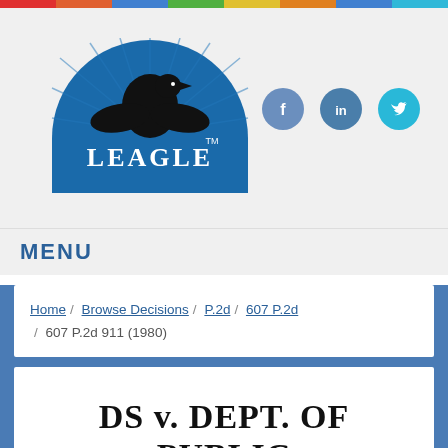[Figure (logo): Leagle.com logo with eagle silhouette on blue semicircle background]
[Figure (infographic): Social media icons: Facebook, LinkedIn, Twitter]
MENU
Home / Browse Decisions / P.2d / 607 P.2d / 607 P.2d 911 (1980)
DS v. DEPT. OF PUBLIC ASSISTANCE & SOCIAL